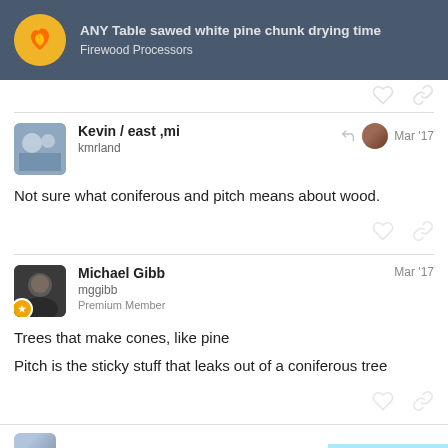ANY Table sawed white pine chunk drying time - Firewood Processors
Not sure what coniferous and pitch means about wood.
Trees that make cones, like pine

Pitch is the sticky stuff that leaks out of a coniferous tree
4 / 17